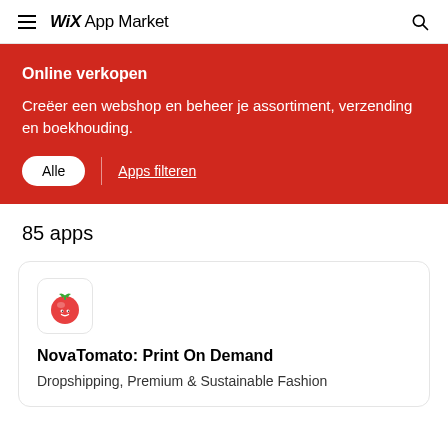WiX App Market
Online verkopen
Creëer een webshop en beheer je assortiment, verzending en boekhouding.
Alle | Apps filteren
85 apps
NovaTomato: Print On Demand
Dropshipping, Premium & Sustainable Fashion